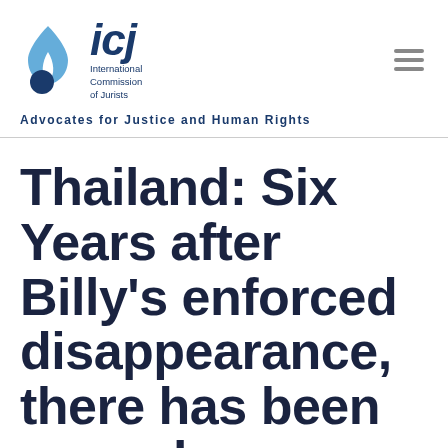[Figure (logo): ICJ logo: blue flame/droplet icon and circle forming the letter 'd', followed by bold italic 'icj' text, with 'International Commission of Jurists' in small text to the right]
Advocates for Justice and Human Rights
Thailand: Six Years after Billy's enforced disappearance, there has been no real progress towards accountability